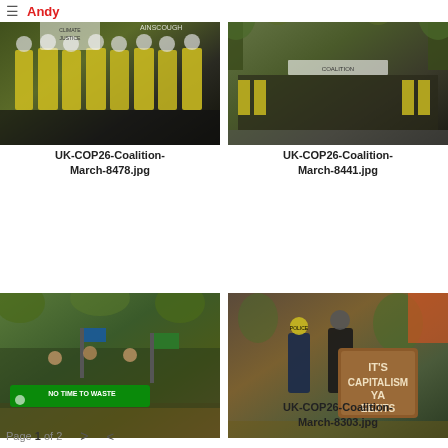≡ Andy [logo]
[Figure (photo): Police officers in yellow high-visibility jackets at a COP26 climate march, with protesters holding Climate Justice signs behind them]
UK-COP26-Coalition-March-8478.jpg
[Figure (photo): Wide shot of COP26 Coalition march with crowds, banners, and police, tree-lined street]
UK-COP26-Coalition-March-8441.jpg
[Figure (photo): COP26 march with green 'No Time To Waste' banner in foreground, crowds with flags and signs]
[Figure (photo): Protester holding brown wooden sign reading 'IT'S CAPITALISM YA EEJITS' with police officer nearby]
UK-COP26-Coalition-March-8303.jpg
Page 1 of 2  >  <